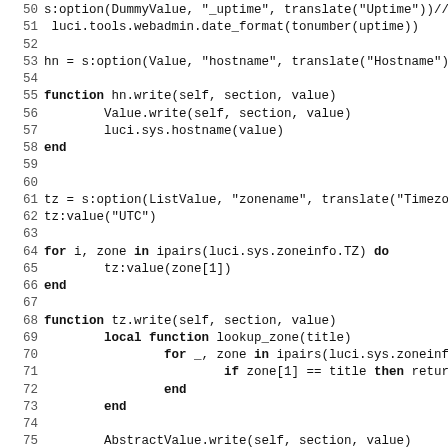Code listing lines 50-82, Lua source code for LuCI web admin system configuration
50: s:option(DummyValue, "_uptime", translate("Uptime")).// ...
51:   luci.tools.webadmin.date_format(tonumber(uptime))
52:
53: hn = s:option(Value, "hostname", translate("Hostname"))
54:
55: function hn.write(self, section, value)
56:         Value.write(self, section, value)
57:         luci.sys.hostname(value)
58: end
59:
60:
61: tz = s:option(ListValue, "zonename", translate("Timezone..."
62: tz:value("UTC")
63:
64: for i, zone in ipairs(luci.sys.zoneinfo.TZ) do
65:         tz:value(zone[1])
66: end
67:
68: function tz.write(self, section, value)
69:         local function lookup_zone(title)
70:                 for _, zone in ipairs(luci.sys.zoneinfo...
71:                         if zone[1] == title then return...
72:                 end
73:         end
74:
75:         AbstractValue.write(self, section, value)
76:         local timezone = lookup_zone(value) or "GMT0"
77:         self.map.uci:set("system", section, "timezone",...
78:         luci.fs.writefile("/etc/TZ", timezone .. "\n")
79: end
80:
81: s:option(Value, "log_size", nil, "kiB").optional = true
82: s:option(Value, "log_ip").optional = true